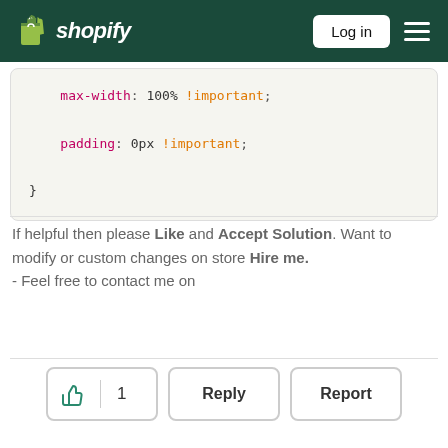[Figure (logo): Shopify logo with green shopping bag icon and white italic text on dark green header bar, with Log in button and hamburger menu]
max-width: 100% !important;
padding: 0px !important;
}
If helpful then please Like and Accept Solution. Want to modify or custom changes on store Hire me.
- Feel free to contact me on